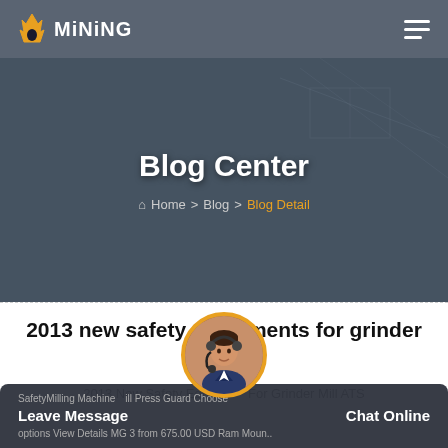MiNING
Blog Center
🏠 Home > Blog > Blog Detail
2013 new safety equipments for grinder mill
2013 New Safety Equipments For Grinder Mill ATS
[Figure (photo): Customer service avatar with headset, circular yellow-bordered photo]
SafetyMilling Machine Mill Press Guard Choose options View Details MG 3 from 675.00 USD Ram Moun..
Leave Message   Chat Online